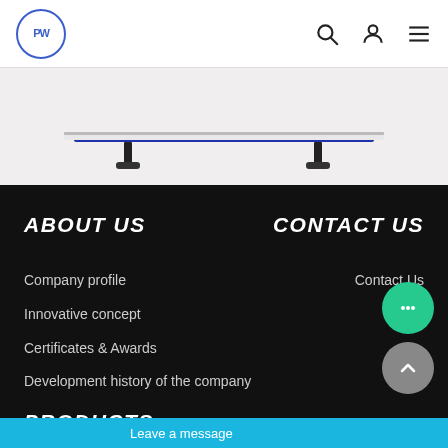PW [logo] | Search | User | Menu
[Figure (illustration): Product image showing a table/shelf with blue horizontal bar, on light grey background]
ABOUT US
CONTACT US
Company profile
Innovative concept
Certificates & Awards
Development history of the company
Contact Us
PRODUCTS
Leave a message